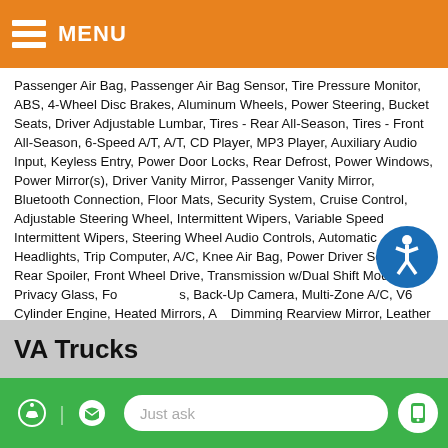MENU
Passenger Air Bag, Passenger Air Bag Sensor, Tire Pressure Monitor, ABS, 4-Wheel Disc Brakes, Aluminum Wheels, Power Steering, Bucket Seats, Driver Adjustable Lumbar, Tires - Rear All-Season, Tires - Front All-Season, 6-Speed A/T, A/T, CD Player, MP3 Player, Auxiliary Audio Input, Keyless Entry, Power Door Locks, Rear Defrost, Power Windows, Power Mirror(s), Driver Vanity Mirror, Passenger Vanity Mirror, Bluetooth Connection, Floor Mats, Security System, Cruise Control, Adjustable Steering Wheel, Intermittent Wipers, Variable Speed Intermittent Wipers, Steering Wheel Audio Controls, Automatic Headlights, Trip Computer, A/C, Knee Air Bag, Power Driver Seat, Rear Spoiler, Front Wheel Drive, Transmission w/Dual Shift Mode, Privacy Glass, Fog Lights, Back-Up Camera, Multi-Zone A/C, V6 Cylinder Engine, Heated Mirrors, Auto-Dimming Rearview Mirror, Leather Steering Wheel, Remote Trunk Release, Remote Engine Start, Third Passenger Door, Fourth Passenger Door, Power Third Passenger Door, Power Fourth Passenger Door, Rear A/C, Flex Fuel Capability, Premium Synthetic Seats, Power Liftgate, Luggage Rack, Hard Disk Drive Media Storage, GRANITE PEARLCOAT, V6 Cylinder Engine, Flex Fuel Capability, Immobilizer
VA Trucks
Just ask